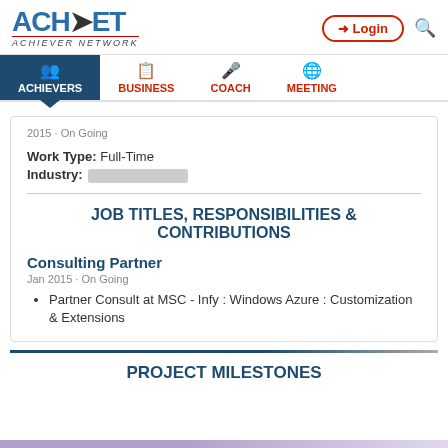[Figure (logo): ACHNET Achiever Network logo with Login button and search icon]
ACHIEVERS | BUSINESS | COACH | MEETING navigation menu
2015 · On Going
Work Type: Full-Time
Industry: [redacted]
JOB TITLES, RESPONSIBILITIES & CONTRIBUTIONS
Consulting Partner
Jan 2015 · On Going
Partner Consult at MSC - Infy : Windows Azure : Customization & Extensions
PROJECT MILESTONES